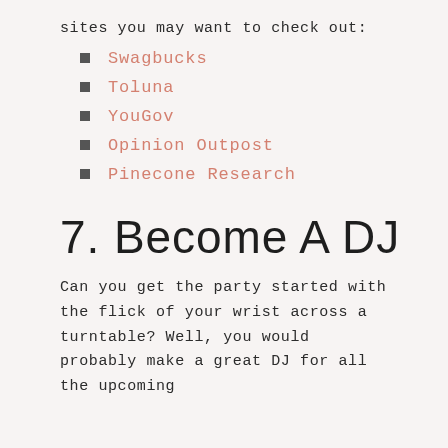sites you may want to check out:
Swagbucks
Toluna
YouGov
Opinion Outpost
Pinecone Research
7. Become A DJ
Can you get the party started with the flick of your wrist across a turntable? Well, you would probably make a great DJ for all the upcoming